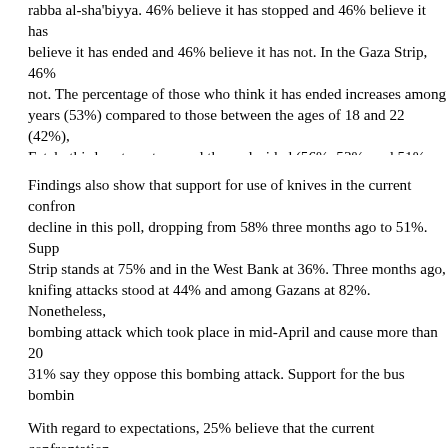rabba al-sha'biyya. 46% believe it has stopped and 46% believe it has not. believe it has ended and 46% believe it has not. In the Gaza Strip, 46% not. The percentage of those who think it has ended increases among years (53%) compared to those between the ages of 18 and 22 (42%), Fatah, third party voters, and the undecided (56%, 53%, and 51% resp intend to vote for Hamas and those who do not intend to participate in respectively), among the non-religious and the somewhat religious (66 the religious (44%), among supporters of the peace process (54%) com the peace process (39%), and among merchants and the unemployed compared to farmers, employees, laborers, and students (29%, 45%, 4
Findings also show that support for use of knives in the current confron decline in this poll, dropping from 58% three months ago to 51%. Supp Strip stands at 75% and in the West Bank at 36%. Three months ago, knifing attacks stood at 44% and among Gazans at 82%. Nonetheless, bombing attack which took place in mid-April and cause more than 20 31% say they oppose this bombing attack. Support for the bus bombin (75%) compared to the West Bank (59%), among residents of refugee and 67% respectively) compared to residents of villages and towns (54 between 18 and 22 years (76%) compared to those whose age is 50 y of Hamas and third parties (82% and 62% respectively) compared to F are opposed to the peace process (80%) compared to supporters of th refugees (70%) compared to non-refugees (62%), among holders of B (49%), among merchants and students (73% and 72% respectively) co farmers (34%, 57%, and 60% respectively), among the unmarried (70%
With regard to expectations, 25% believe that the current confrontation intifada, 17% believe they will develop into wide scale peaceful popula will develop in both directions. By contrast, 29% believe the confrontati